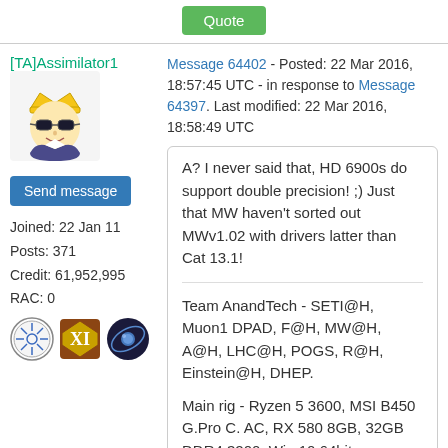Quote
[TA]Assimilator1
Message 64402 - Posted: 22 Mar 2016, 18:57:45 UTC - in response to Message 64397. Last modified: 22 Mar 2016, 18:58:49 UTC
[Figure (illustration): Avatar image of a cartoon character with sunglasses and a crown]
Send message
Joined: 22 Jan 11
Posts: 371
Credit: 61,952,995
RAC: 0
[Figure (illustration): Three badge icons for the user]
A? I never said that, HD 6900s do support double precision! ;)
Just that MW haven't sorted out MWv1.02 with drivers latter than Cat 13.1!
Team AnandTech - SETI@H, Muon1 DPAD, F@H, MW@H, A@H, LHC@H, POGS, R@H, Einstein@H, DHEP.
Main rig - Ryzen 5 3600, MSI B450 G.Pro C. AC, RX 580 8GB, 32GB DDR4 3200, Win 10 64bit
2nd rig - i7 4930k @4.1 GHz, HD 7870 XT 2GB(DC), 16GB DDR3